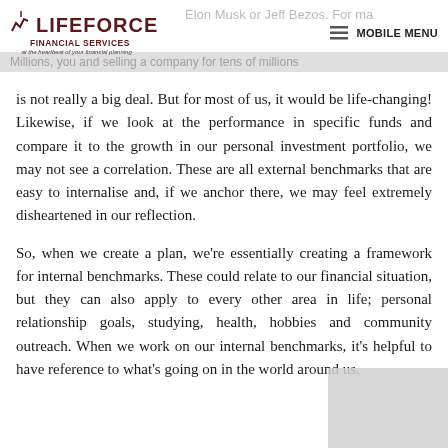LIFEFORCE FINANCIAL SERVICES — at the heartbeat of your financial planning | MOBILE MENU
Elon Musk or Jeff Bezos. For millionaires, selling a company for tens of millions is not really a big deal. But for most of us, it would be life-changing! Likewise, if we look at the performance in specific funds and compare it to the growth in our personal investment portfolio, we may not see a correlation. These are all external benchmarks that are easy to internalise and, if we anchor there, we may feel extremely disheartened in our reflection.
So, when we create a plan, we're essentially creating a framework for internal benchmarks. These could relate to our financial situation, but they can also apply to every other area in life; personal relationship goals, studying, health, hobbies and community outreach. When we work on our internal benchmarks, it's helpful to have reference to what's going on in the world around us.